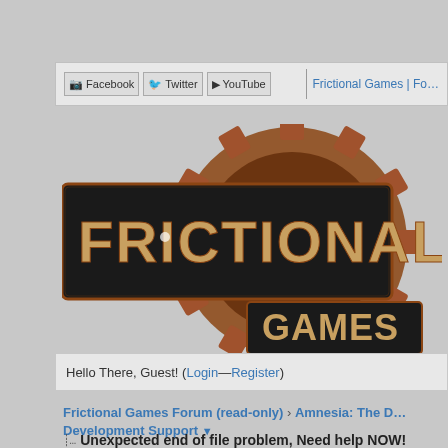[Figure (screenshot): Frictional Games forum website screenshot showing navigation bar with Facebook, Twitter, YouTube icons, and links to Frictional Games and Forum. Below is the Frictional Games logo with a gear/cog design. Then a greeting bar saying Hello There, Guest! with Login and Register links. Breadcrumb navigation showing Frictional Games Forum (read-only) > Amnesia: The D... > Development Support. Thread title: Unexpected end of file problem, Need help NOW! A blue thread header box with same title. Post row with user JohnS0N (Junior Member) and partial post content.]